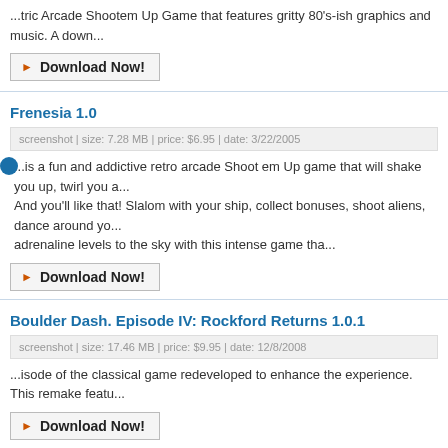...tric Arcade Shootem Up Game that features gritty 80's-ish graphics and music. A down...
Download Now!
Frenesia 1.0
screenshot | size: 7.28 MB | price: $6.95 | date: 3/22/2005
...is a fun and addictive retro arcade Shoot em Up game that will shake you up, twirl you a... And you'll like that! Slalom with your ship, collect bonuses, shoot aliens, dance around yo... adrenaline levels to the sky with this intense game tha...
Download Now!
Boulder Dash. Episode IV: Rockford Returns 1.0.1
screenshot | size: 17.46 MB | price: $9.95 | date: 12/8/2008
...isode of the classical game redeveloped to enhance the experience. This remake featu...
Download Now!